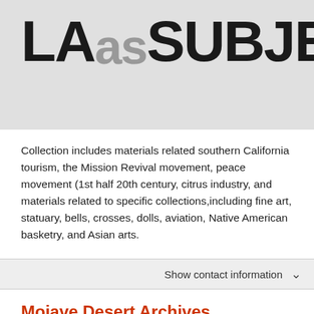[Figure (logo): LA as SUBJECT logo — large bold black text reading 'LA' followed by grey text 'as' and bold black 'SUBJECT' on a light grey background]
Collection includes materials related southern California tourism, the Mission Revival movement, peace movement (1st half 20th century, citrus industry, and materials related to specific collections,including fine art, statuary, bells, crosses, dolls, aviation, Native American basketry, and Asian arts.
Show contact information
Mojave Desert Archives